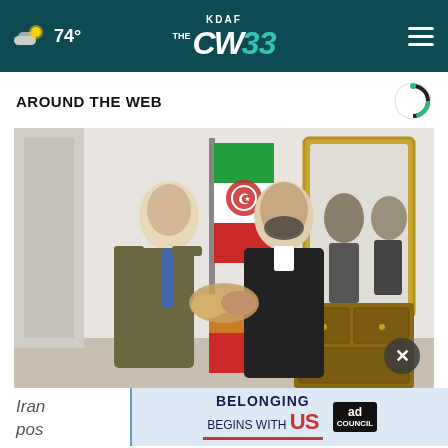KDAF CW33 — 74° weather — navigation header
AROUND THE WEB
[Figure (photo): Two men in suits shaking hands in front of an Iranian flag. The man on the left wears a brown/olive blazer with a blue tie; the man on the right wears a dark suit. An ornate gold-framed mirror and wooden dresser are visible in the background.]
Iran pos
[Figure (infographic): Ad Council banner — 'BELONGING BEGINS WITH US' advertisement with red underline bar and Ad Council logo badge]